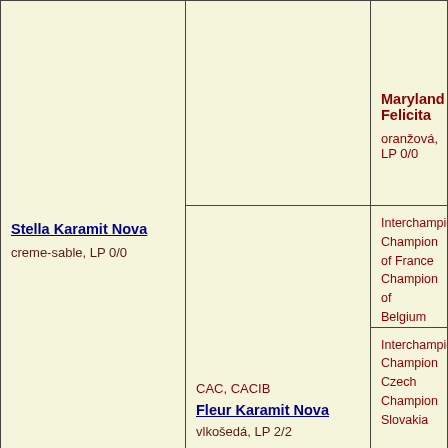| Stella Karamit Nova
creme-sable, LP 0/0 |  | Maryland Felicita
oranžová, LP 0/0 |
|  | CAC, CACIB
Fleur Karamit Nova
vlkošedá, LP 2/2 | Interchampion Champion of France Champion of Belgium Champion of Switzerland Champion of Germany Champion of Luxembourg
Romualdo´Lou de la Fontaine de Juliette
vlkošedá, LP 0/0 | Interchampion Champion Czech Champion Slovakia |